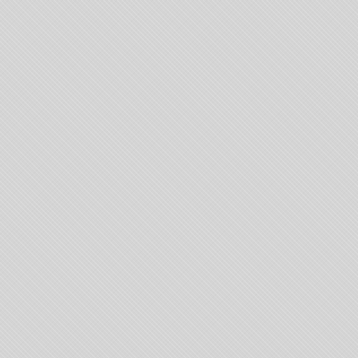more information, to get
Antworten
Leave a Reply
Name (required)
Mail (required)
Website